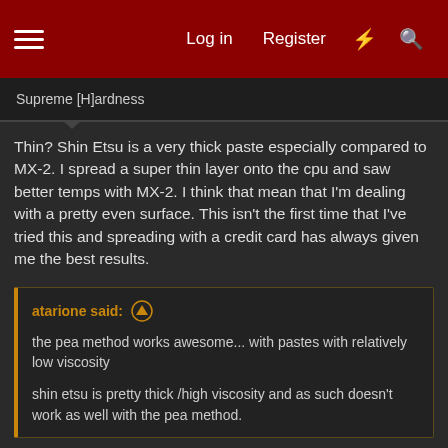Log in  Register
Supreme [H]ardness
Thin? Shin Etsu is a very thick paste especially compared to MX-2. I spread a super thin layer onto the cpu and saw better temps with MX-2. I think that mean that I'm dealing with a pretty even surface. This isn't the first time that I've tried this and spreading with a credit card has always given me the best results.
atarione said:
the pea method works awesome... with pastes with relatively low viscosity

shin etsu is pretty thick /high viscosity and as such doesn't work as well with the pea method.
I can't spread with a credit card either. It's too thick. I'm not too sure what people see in Shin Etsu. I have some MX-4, I